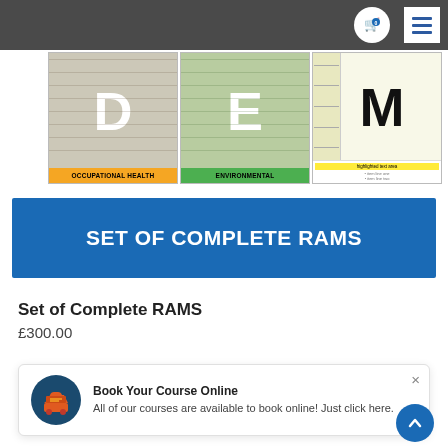[Figure (screenshot): Top navigation bar with dark grey background, shopping cart icon and hamburger menu icon on the right]
[Figure (illustration): Three product preview cards side by side: 'D - OCCUPATIONAL HEALTH' with orange label, 'E - ENVIRONMENTAL' with green label, and 'M' document preview with yellow/white areas]
[Figure (illustration): Blue banner with white bold text reading SET OF COMPLETE RAMS]
Set of Complete RAMS
£300.00
[Figure (infographic): Notification popup card: Book Your Course Online - All of our courses are available to book online! Just click here. With teal shopping cart icon on left.]